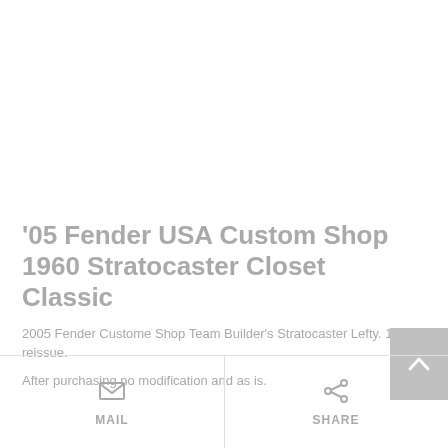'05 Fender USA Custom Shop 1960 Stratocaster Closet Classic
2005 Fender Custome Shop Team Builder's Stratocaster Lefty. 1963 reissue.
After purchasing no modification and as is.